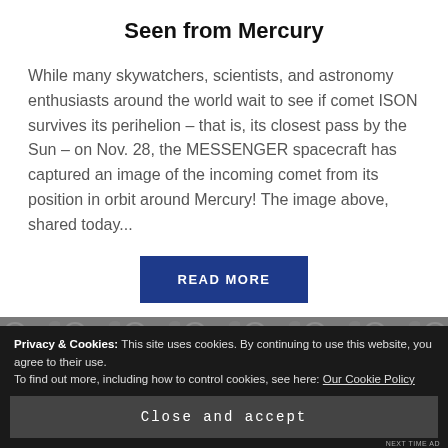Seen from Mercury
While many skywatchers, scientists, and astronomy enthusiasts around the world wait to see if comet ISON survives its perihelion – that is, its closest pass by the Sun – on Nov. 28, the MESSENGER spacecraft has captured an image of the incoming comet from its position in orbit around Mercury! The image above, shared today...
[Figure (other): Blue READ MORE button]
[Figure (photo): Grayscale photograph of Mercury's cratered surface]
Privacy & Cookies: This site uses cookies. By continuing to use this website, you agree to their use.
To find out more, including how to control cookies, see here: Our Cookie Policy
Close and accept